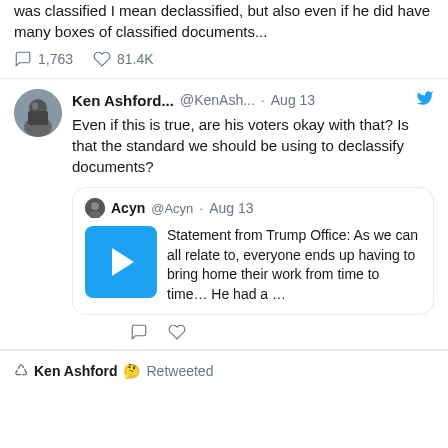was classified I mean declassified, but also even if he did have many boxes of classified documents...
1,763   81.4K
Ken Ashford... @KenAsh... · Aug 13
Even if this is true, are his voters okay with that? Is that the standard we should be using to declassify documents?
Acyn @Acyn · Aug 13
Statement from Trump Office: As we can all relate to, everyone ends up having to bring home their work from time to time... He had a ...
Ken Ashford 🤔 Retweeted